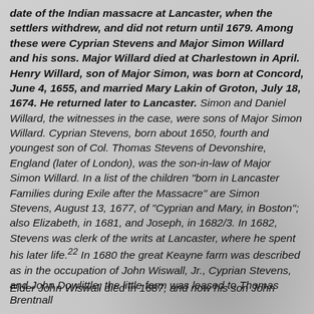date of the Indian massacre at Lancaster, when the settlers withdrew, and did not return until 1679. Among these were Cyprian Stevens and Major Simon Willard and his sons. Major Willard died at Charlestown in April. Henry Willard, son of Major Simon, was born at Concord, June 4, 1655, and married Mary Lakin of Groton, July 18, 1674. He returned later to Lancaster. Simon and Daniel Willard, the witnesses in the case, were sons of Major Simon Willard. Cyprian Stevens, born about 1650, fourth and youngest son of Col. Thomas Stevens of Devonshire, England (later of London), was the son-in-law of Major Simon Willard. In a list of the children "born in Lancaster Families during Exile after the Massacre" are Simon Stevens, August 13, 1677, of "Cyprian and Mary, in Boston"; also Elizabeth, in 1681, and Joseph, in 1682/3. In 1682, Stevens was clerk of the writs at Lancaster, where he spent his later life.22 In 1680 the great Keayne farm was described as in the occupation of John Wiswall, Jr., Cyprian Stevens, and John Dowlittle; the little farm was leased to Thomas Brentnall
Elder John Wiswall died in 1687, and now his son John